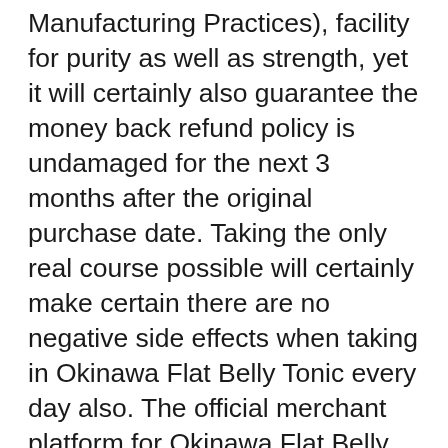Manufacturing Practices), facility for purity as well as strength, yet it will certainly also guarantee the money back refund policy is undamaged for the next 3 months after the original purchase date. Taking the only real course possible will certainly make certain there are no negative side effects when taking in Okinawa Flat Belly Tonic every day also. The official merchant platform for Okinawa Flat Belly Tonic is Clickbank, among the most reliable marketplaces in the world that has actually been in business for more than a years taking place two as well as is an easy to use, customer-centric business that always honors the money back guarantee and also reimbursement policy of the products dispersed. The 90-day reimbursement policy for Okinawa Flat Belly